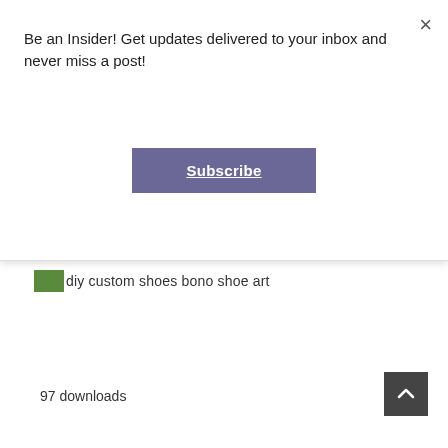Be an Insider! Get updates delivered to your inbox and never miss a post!
Subscribe
[Figure (other): Small green thumbnail image icon next to text label 'diy custom shoes bono shoe art']
diy custom shoes bono shoe art
97 downloads